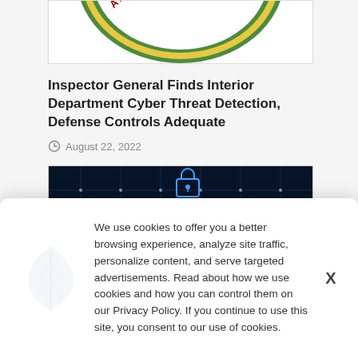[Figure (logo): Partial view of a government/state seal with text 'ARCH 3, 184' visible on a circular badge with green and yellow colors]
Inspector General Finds Interior Department Cyber Threat Detection, Defense Controls Adequate
August 22, 2022
[Figure (photo): Cybersecurity themed image with dark blue circuit board background, glowing lock icons and digital connection patterns]
We use cookies to offer you a better browsing experience, analyze site traffic, personalize content, and serve targeted advertisements. Read about how we use cookies and how you can control them on our Privacy Policy. If you continue to use this site, you consent to our use of cookies.